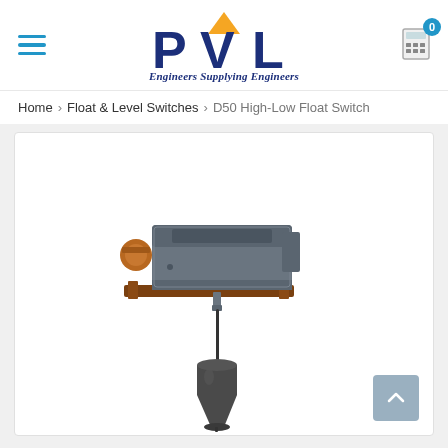[Figure (logo): PVL Engineers Supplying Engineers logo with orange triangle above V letter, dark blue PVL text]
Home > Float & Level Switches > D50 High-Low Float Switch
[Figure (photo): D50 High-Low Float Switch product photo showing a grey rectangular switch body with bronze/copper fittings mounted on a bracket, with a black conical float hanging below on a wire/cable]